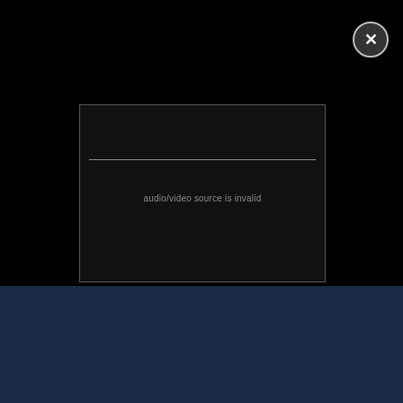[Figure (screenshot): Black video player overlay with an inner video frame showing 'audio/video source is invalid' error message and a horizontal divider line]
audio/video source is invalid
Close
[Figure (screenshot): Bottom section with Chicago Bears logo and three article cards: 'What we learned as Roquan returned to practice for Bears', 'Eberflus impressed with Teven Jenkins at RG', 'Eberflus super excited to have Roquan Smit...']
What we learned as Roquan returned to practice for Bears
Eberflus impressed with Teven Jenkins at RG
Eberflus 'super excited' to have Roquan Smit